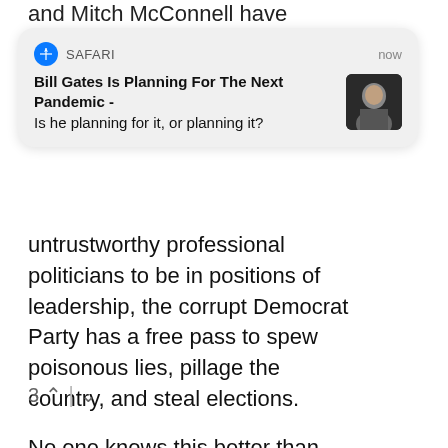and Mitch McConnell have
[Figure (screenshot): A Safari browser notification card showing headline 'Bill Gates Is Planning For The Next Pandemic -' and subtitle 'Is he planning for it, or planning it?' with a thumbnail photo of Bill Gates. Header shows Safari icon and 'now' timestamp.]
untrustworthy professional politicians to be in positions of leadership, the corrupt Democrat Party has a free pass to spew poisonous lies, pillage the country, and steal elections.

No one knows this better than Democrats in Congress. They take full advantage.
3 ^ | v